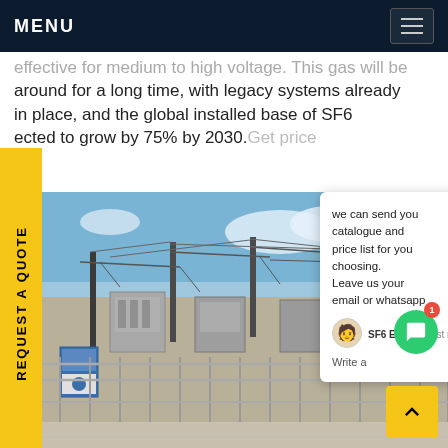MENU
effective for medium to high voltage. This gas will be around for a long time, with legacy systems already in place, and the global installed base of SF6 expected to grow by 75% by 2030. Get price
[Figure (photo): Electrical substation with high-voltage transmission towers, power lines, and transformer equipment. Metal security fencing in the foreground. Blue sky with clouds in the background. Blue and white information signs visible on the left.]
we can send you catalogue and price list for you choosing. Leave us your email or whatsapp .
SF6 Expert    just now
Write a
REQUEST A QUOTE